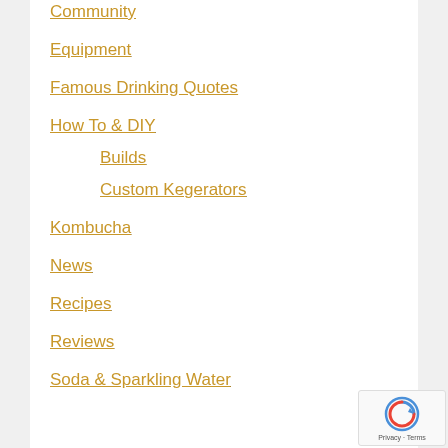Community
Equipment
Famous Drinking Quotes
How To & DIY
Builds
Custom Kegerators
Kombucha
News
Recipes
Reviews
Soda & Sparkling Water